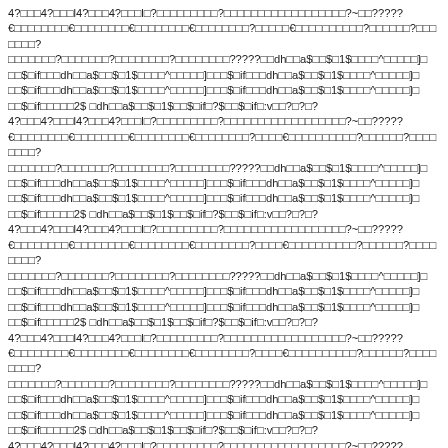4?□□□4?□□□l4?□□□4?□□□l□?□□□□□□□□□?□□□□□□□□□□□□□□□□□□□?~□□?????€□□□□□□□□€□□□□□□□□€□□□□□□□□€□□□□□□□□?□□□□□€□□□□□□□□□□?□□□□□□?□□□□□□□?□□□□□□□?□□□□□□□□?□□□□□□□□?????□□dh□□a$□□$□1$□□□□^□□□□□]□□□$□if□□□dh□□a$□□$□1$□□□□^□□□□□]□□□$□if□□□dh□□a$□□$□1$□□□□^□□□□□]□□□$□if□□□dh□□a$□□$□1$□□□□^□□□□□]□□□$□if□□□dh□□a$□□$□1$□□□□^□□□□□]□□□$□if□□□□□2$ □dh□□a$□□$□1$□□$□if□?$□□$□if□:v□□?□?□?4?□□□4?□□□l4?□□□4?□□□l□?□□□□□□□□□?□□□□□□□□□□□□□□□□□□□?~□□?????€□□□□□□□□€□□□□□□□□€□□□□□□□□€□□□□□□□□?□□□□€□□□□□□□□□□?□□□□□□?□□□□□□□□?□□□□□□□?□□□□□□□□?□□□□□□□□?????□□dh□□a$□□$□1$□□□□^□□□□□]□□□$□if□□□dh□□a$□□$□1$□□□□^□□□□□]□□□$□if□□□dh□□a$□□$□1$□□□□^□□□□□]□□□$□if□□□dh□□a$□□$□1$□□□□^□□□□□]□□□$□if□□□dh□□a$□□$□1$□□□□^□□□□□]□□□$□if□□□□□2$ □dh□□a$□□$□1$□□$□if□?$□□$□if□:v□□?□?□?4?□□□4?□□□l4?□□□4?□□□l□?□□□□□□□□□?□□□□□□□□□□□□□□□□□□□?~□□?????€□□□□□□□□€□□□□□□□□€□□□□□□□□€□□□□□□□□?□□□□€□□□□□□□□□□?□□□□□□?□□□□□□□□?□□□□□□□?□□□□□□□□?□□□□□□□□?????□□dh□□a$□□$□1$□□□□^□□□□□]□□□$□if□□□dh□□a$□□$□1$□□□□^□□□□□]□□□$□if□□□dh□□a$□□$□1$□□□□^□□□□□]□□□$□if□□□dh□□a$□□$□1$□□□□^□□□□□]□□□$□if□□□dh□□a$□□$□1$□□□□^□□□□□]□□□$□if□□□□□2$ □dh□□a$□□$□1$□□$□if□?$□□$□if□:v□□?□?□?4?□□□4?□□□l4?□□□4?□□□l□?□□□□□□□□□?□□□□□□□□□□□□□□□□□□□?~□□?????€□□□□□□□□€□□□□□□□□€□□□□□□□□€□□□□□□□□?□□□□€□□□□□□□□□□?□□□□□□?□□□□□□□□?□□□□□□□?□□□□□□□□?□□□□□□□□?????□□dh□□a$□□$□1$□□□□^□□□□□]□□□$□if□□□dh□□a$□□$□1$□□□□^□□□□□]□□□$□if□□□dh□□a$□□$□1$□□□□^□□□□□]□□□$□if□□□dh□□a$□□$□1$□□□□^□□□□□]□□□$□if□□□dh□□a$□□$□1$□□□□^□□□□□]□□□$□if□□□□□2$ □dh□□a$□□$□1$□□$□if□?$□□$□if□:v□□?□?□?4?□□□4?□□□l4?□□□4?□□□l□?□□□□□□□□□?□□□□□□□□□□□□□□□□□□□?~□□?????